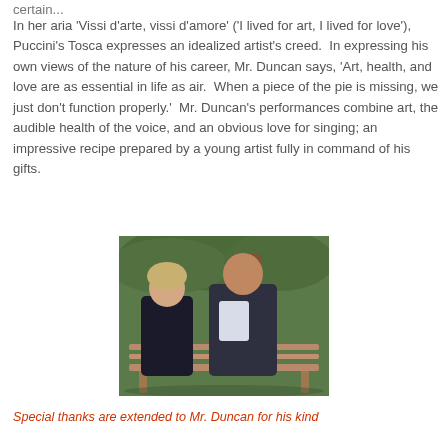certain...
In her aria 'Vissi d'arte, vissi d’amore' (‘I lived for art, I lived for love’), Puccini’s Tosca expresses an idealized artist’s creed.  In expressing his own views of the nature of his career, Mr. Duncan says, ‘Art, health, and love are as essential in life as air.  When a piece of the pie is missing, we just don’t function properly.’  Mr. Duncan’s performances combine art, the audible health of the voice, and an obvious love for singing; an impressive recipe prepared by a young artist fully in command of his gifts.
[Figure (photo): A man and a woman sitting on a wooden bench outdoors, smiling at each other. There is a large tree behind them and green foliage in the background. Both are dressed in dark clothing.]
Special thanks are extended to Mr. Duncan for his kind